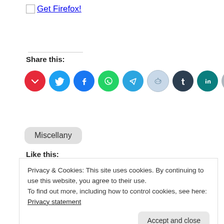[Figure (other): Get Firefox! link with broken image placeholder]
Share this:
[Figure (other): Row of social media share icons: Pocket (red), Twitter (cyan), Facebook (blue), WhatsApp (green), Telegram (teal), Reddit (light blue/gray), Tumblr (dark navy), LinkedIn (dark teal), Email (gray)]
Like this:
[Figure (other): Like button with star icon]
Be the first to like this.
Miscellany
Privacy & Cookies: This site uses cookies. By continuing to use this website, you agree to their use.
To find out more, including how to control cookies, see here:
Privacy statement